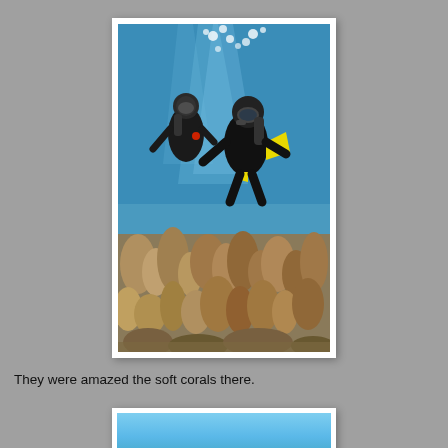[Figure (photo): Two scuba divers in black wetsuits swimming underwater above a coral reef with soft corals. The water is bright blue with bubbles rising above the divers.]
They were amazed the soft corals there.
[Figure (photo): Partial view of an underwater scene showing blue water, bottom of a second photo.]